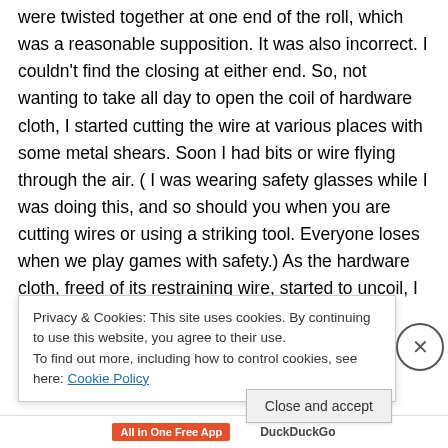were twisted together at one end of the roll, which was a reasonable supposition. It was also incorrect. I couldn't find the closing at either end. So, not wanting to take all day to open the coil of hardware cloth, I started cutting the wire at various places with some metal shears. Soon I had bits or wire flying through the air. ( I was wearing safety glasses while I was doing this, and so should you when you are cutting wires or using a striking tool. Everyone loses when we play games with safety.) As the hardware cloth, freed of its restraining wire, started to uncoil, I
Privacy & Cookies: This site uses cookies. By continuing to use this website, you agree to their use.
To find out more, including how to control cookies, see here: Cookie Policy
Close and accept
All in One Free App   DuckDuckGo